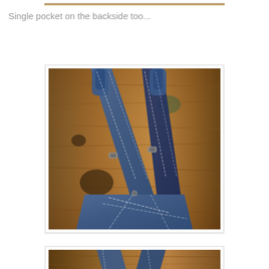[Figure (photo): Partial view of denim overalls straps laid on a wooden surface, cropped at top of page]
Single pocket on the backside too...
[Figure (photo): Denim overalls showing crossed back straps with buckles, laid flat on a rustic wooden surface with visible wood grain and knots]
[Figure (photo): Bottom partial view of denim overalls on wooden surface, cropped at bottom of page]